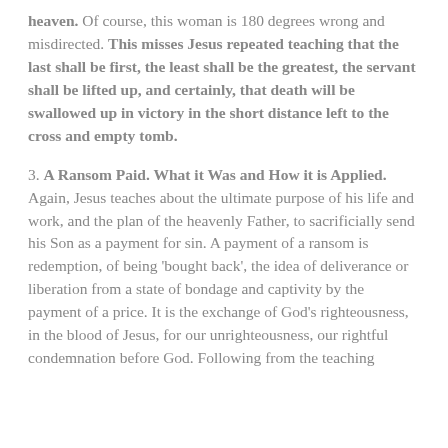heaven.  Of course, this woman is 180 degrees wrong and misdirected.  This misses Jesus repeated teaching that the last shall be first, the least shall be the greatest, the servant shall be lifted up, and certainly, that death will be swallowed up in victory in the short distance left to the cross and empty tomb.
3. A Ransom Paid.  What it Was and How it is Applied.  Again, Jesus teaches about the ultimate purpose of his life and work, and the plan of the heavenly Father, to sacrificially send his Son as a payment for sin.  A payment of a ransom is redemption, of being 'bought back', the idea of deliverance or liberation from a state of bondage and captivity by the payment of a price.  It is the exchange of God's righteousness, in the blood of Jesus, for our unrighteousness, our rightful condemnation before God.  Following from the teaching